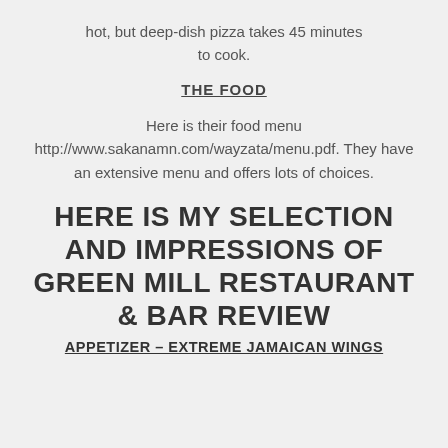service is fast and friendly. And the food was hot, but deep-dish pizza takes 45 minutes to cook.
THE FOOD
Here is their food menu http://www.sakanamn.com/wayzata/menu.pdf. They have an extensive menu and offers lots of choices.
HERE IS MY SELECTION AND IMPRESSIONS OF GREEN MILL RESTAURANT & BAR REVIEW
APPETIZER – EXTREME JAMAICAN WINGS